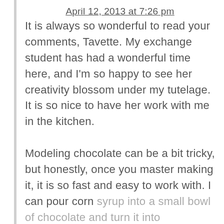April 12, 2013 at 7:26 pm
It is always so wonderful to read your comments, Tavette. My exchange student has had a wonderful time here, and I'm so happy to see her creativity blossom under my tutelage. It is so nice to have her work with me in the kitchen.

Modeling chocolate can be a bit tricky, but honestly, once you master making it, it is so fast and easy to work with. I can pour corn syrup into a small bowl of chocolate and turn it into